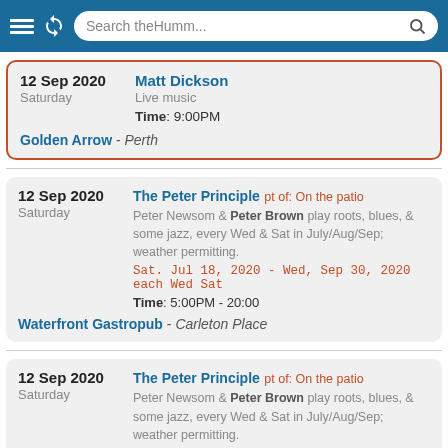Search theHumm...
12 Sep 2020 Saturday | Matt Dickson | Live music | Time: 9:00PM | Golden Arrow - Perth
12 Sep 2020 Saturday | The Peter Principle pt of: On the patio | Peter Newsom & Peter Brown play roots, blues, & some jazz, every Wed & Sat in July/Aug/Sep; weather permitting. Sat. Jul 18, 2020 - Wed, Sep 30, 2020 each Wed Sat | Time: 5:00PM - 20:00 | Waterfront Gastropub - Carleton Place
12 Sep 2020 Saturday | The Peter Principle pt of: On the patio | Peter Newsom & Peter Brown play roots, blues, & some jazz, every Wed & Sat in July/Aug/Sep; weather permitting. Sat. Jul 18, 2020 - Wed, Sep 30, 2020